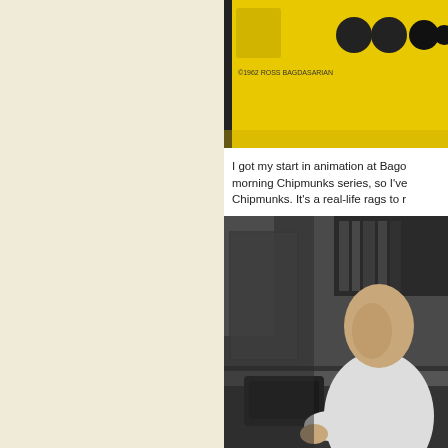[Figure (illustration): Decorative repeating pattern of stylized circular/square interlocked symbols on a cream/beige background, arranged in a grid, in a muted blue-gray color.]
[Figure (photo): Yellow background image with a coat of arms/logo and dots, appears to be a record label or book cover. Text reads copyright 1962 Ross Bagdasarian.]
I got my start in animation at Bag... morning Chipmunks series, so I've... Chipmunks. It's a real-life rags to r...
[Figure (photo): Black and white photograph of a man seated at a desk with books visible on shelves in the background.]